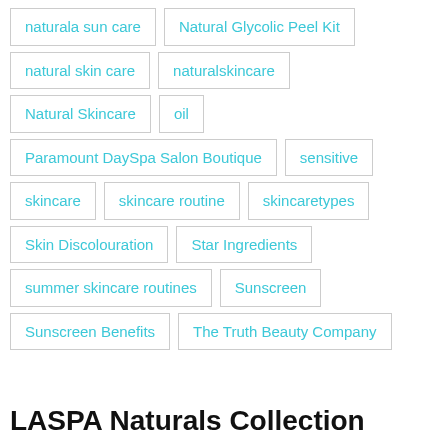naturala sun care
Natural Glycolic Peel Kit
natural skin care
naturalskincare
Natural Skincare
oil
Paramount DaySpa Salon Boutique
sensitive
skincare
skincare routine
skincaretypes
Skin Discolouration
Star Ingredients
summer skincare routines
Sunscreen
Sunscreen Benefits
The Truth Beauty Company
LASPA Naturals Collection